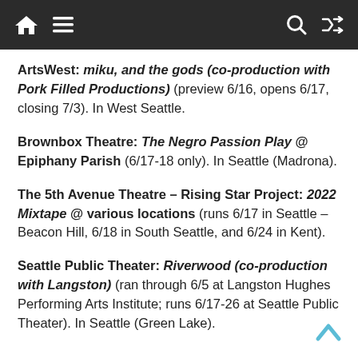Navigation bar with home, menu, search, and shuffle icons
ArtsWest: miku, and the gods (co-production with Pork Filled Productions) (preview 6/16, opens 6/17, closing 7/3). In West Seattle.
Brownbox Theatre: The Negro Passion Play @ Epiphany Parish (6/17-18 only). In Seattle (Madrona).
The 5th Avenue Theatre – Rising Star Project: 2022 Mixtape @ various locations (runs 6/17 in Seattle – Beacon Hill, 6/18 in South Seattle, and 6/24 in Kent).
Seattle Public Theater: Riverwood (co-production with Langston) (ran through 6/5 at Langston Hughes Performing Arts Institute; runs 6/17-26 at Seattle Public Theater). In Seattle (Green Lake).